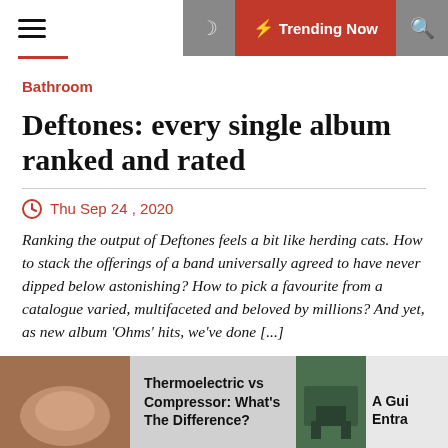Trending Now
Bathroom
Deftones: every single album ranked and rated
Thu Sep 24 , 2020
Ranking the output of Deftones feels a bit like herding cats. How to stack the offerings of a band universally agreed to have never dipped below astonishing? How to pick a favourite from a catalogue varied, multifaceted and beloved by millions? And yet, as new album ‘Ohms’ hits, we’ve done [...]
Thermoelectric vs Compressor: What’s The Difference?
A Gui Entra